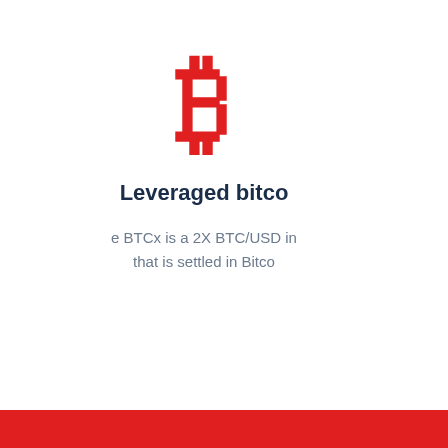[Figure (illustration): Red Bitcoin symbol icon (letter B with double vertical strokes)]
Leveraged bitco
e BTCx is a 2X BTC/USD in that is settled in Bitco
[Figure (illustration): Red calendar icon (rectangle with tabs at top and empty interior)]
Anticipated redeem
You keep control all the time. Yeap that means you can redeem your BT no matter what with no extra cos anytime.